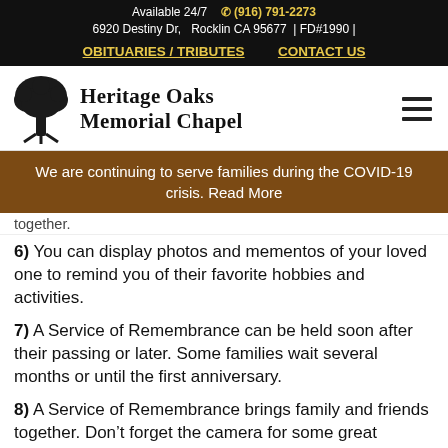Available 24/7  (916) 791-2273
6920 Destiny Dr,  Rocklin CA 95677  | FD#1990 |
OBITUARIES / TRIBUTES    CONTACT US
[Figure (logo): Heritage Oaks Memorial Chapel logo with oak tree illustration and serif text]
We are continuing to serve families during the COVID-19 crisis. Read More
together.
6) You can display photos and mementos of your loved one to remind you of their favorite hobbies and activities.
7) A Service of Remembrance can be held soon after their passing or later. Some families wait several months or until the first anniversary.
8) A Service of Remembrance brings family and friends together. Don’t forget the camera for some great pictures!